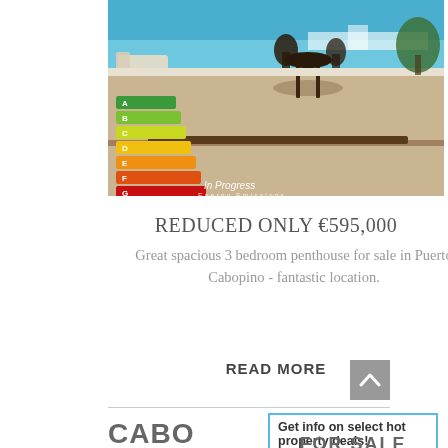[Figure (photo): Rooftop terrace of a penthouse with outdoor furniture, overlooking the sea. Energy rating chart overlay on the left showing bars A through G with 'In Progress' label.]
REDUCED ONLY €595,000
Great spacious 3 bedroom penthouse for sale in Puerto Cabopino - fantastic location.
READ MORE
CABO
Get info on select hot property deals!
FOR SALE